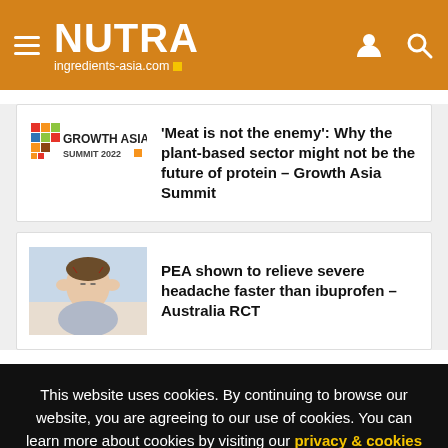NUTRA ingredients-asia.com
[Figure (logo): Growth Asia Summit 2022 logo]
'Meat is not the enemy': Why the plant-based sector might not be the future of protein – Growth Asia Summit
[Figure (photo): Man holding head in pain, headache photo]
PEA shown to relieve severe headache faster than ibuprofen – Australia RCT
This website uses cookies. By continuing to browse our website, you are agreeing to our use of cookies. You can learn more about cookies by visiting our privacy & cookies policy page.